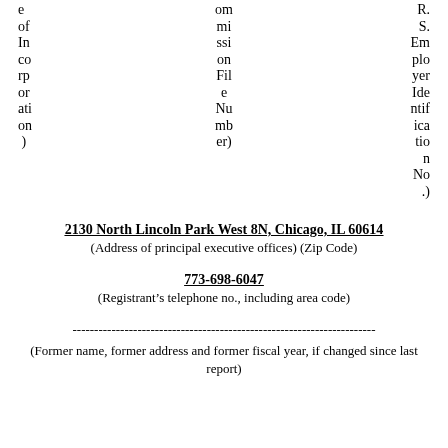e of Incorporation)   om mi ssi on Fil e Nu mb er)   R. S. Em plo yer Ide ntif ica tio n No .)
2130 North Lincoln Park West 8N, Chicago, IL 60614
(Address of principal executive offices) (Zip Code)
773-698-6047
(Registrant's telephone no., including area code)
----------------------------------------------------------------------
(Former name, former address and former fiscal year, if changed since last report)